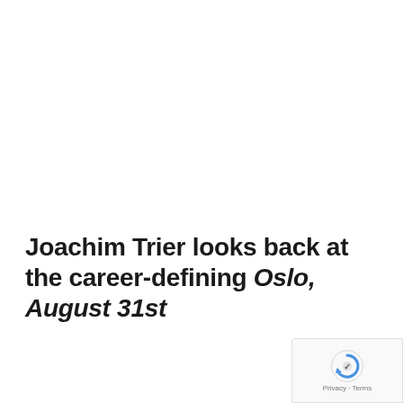Joachim Trier looks back at the career-defining Oslo, August 31st
[Figure (logo): reCAPTCHA badge with Privacy and Terms links]